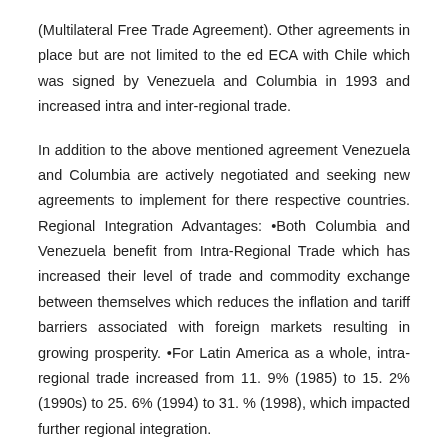(Multilateral Free Trade Agreement). Other agreements in place but are not limited to the ed ECA with Chile which was signed by Venezuela and Columbia in 1993 and increased intra and inter-regional trade.
In addition to the above mentioned agreement Venezuela and Columbia are actively negotiated and seeking new agreements to implement for there respective countries. Regional Integration Advantages: •Both Columbia and Venezuela benefit from Intra-Regional Trade which has increased their level of trade and commodity exchange between themselves which reduces the inflation and tariff barriers associated with foreign markets resulting in growing prosperity. •For Latin America as a whole, intra-regional trade increased from 11. 9% (1985) to 15. 2% (1990s) to 25. 6% (1994) to 31. % (1998), which impacted further regional integration.
Through regional integration both countries will have the ability to grow in the global market place benefiting the overall economic